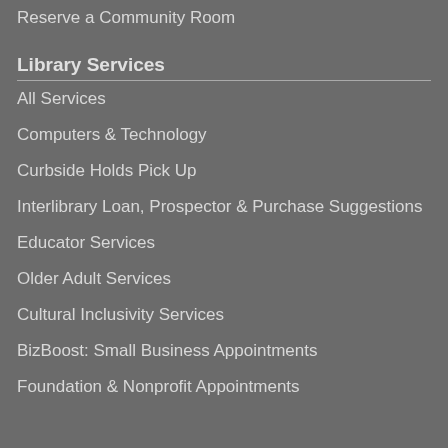Reserve a Community Room
Library Services
All Services
Computers & Technology
Curbside Holds Pick Up
Interlibrary Loan, Prospector & Purchase Suggestions
Educator Services
Older Adult Services
Cultural Inclusivity Services
BizBoost: Small Business Appointments
Foundation & Nonprofit Appointments